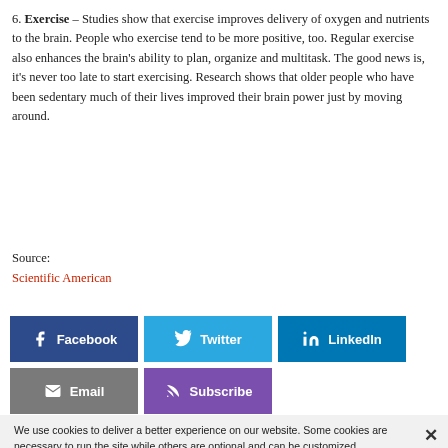6. Exercise – Studies show that exercise improves delivery of oxygen and nutrients to the brain. People who exercise tend to be more positive, too. Regular exercise also enhances the brain's ability to plan, organize and multitask. The good news is, it's never too late to start exercising. Research shows that older people who have been sedentary much of their lives improved their brain power just by moving around.
Source:
Scientific American
[Figure (infographic): Social sharing buttons: Facebook (dark blue), Twitter (light blue), LinkedIn (blue), Email (gray), Subscribe (purple)]
We use cookies to deliver a better experience on our website. Some cookies are necessary to run the site while others are optional and can be customized. Cookie Policy | Privacy Policy